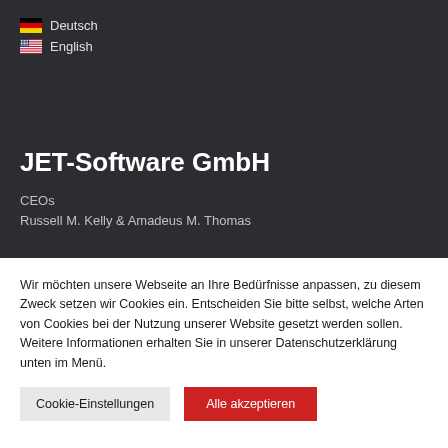🇩🇪 Deutsch
🇺🇸 English
JET-Software GmbH
CEOs
Russell M. Kelly & Amadeus M. Thomas
Wir möchten unsere Webseite an Ihre Bedürfnisse anpassen, zu diesem Zweck setzen wir Cookies ein. Entscheiden Sie bitte selbst, welche Arten von Cookies bei der Nutzung unserer Website gesetzt werden sollen. Weitere Informationen erhalten Sie in unserer Datenschutzerklärung unten im Menü.
Cookie-Einstellungen
Alle akzeptieren